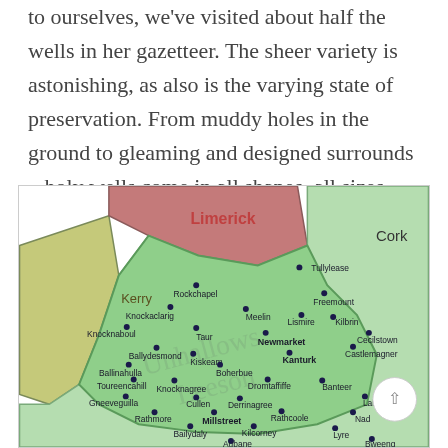to ourselves, we've visited about half the wells in her gazetteer. The sheer variety is astonishing, as also is the varying state of preservation. From muddy holes in the ground to gleaming and designed surrounds – holy wells come in all shapes, all sizes, and all conditions.
[Figure (map): Map of County Cork (Ireland) region showing locations of holy wells and nearby county areas (Limerick, Kerry, Cork). Place names marked with dots include: Tullylease, Rockchapel, Freemount, Knockaclarig, Meelin, Lismire, Kilbrin, Knocknaboul, Taur, Newmarket, Cecilstown, Ballydesmond, Kiskeam, Kanturk, Castlemagner, Ballinahulla, Boherbue, Toureencahill, Knocknagree, Dromtaffiffe, Banteer, Gneeveguilla, Cullen, Derrinagree, Lahern, Rathmore, Millstreet, Rathcoole, Nad, Bailydaly, Kilcorney, Lyre, Aubane, Bweeng. A watermark reads 'Unhallows Leeson'.]